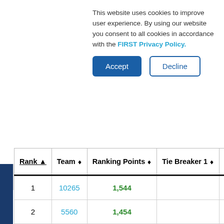This website uses cookies to improve user experience. By using our website you consent to all cookies in accordance with the FIRST Privacy Policy.
Accept | Decline
These Rankings reflect only League Meets. Visit a League Tournament's page to view Rankings that include its Qualification Matches.
| Rank | Team | Ranking Points | Tie Breaker 1 | Tie B |
| --- | --- | --- | --- | --- |
| 1 | 10265 | 1,544 |  |  |
| 2 | 5560 | 1,454 |  |  |